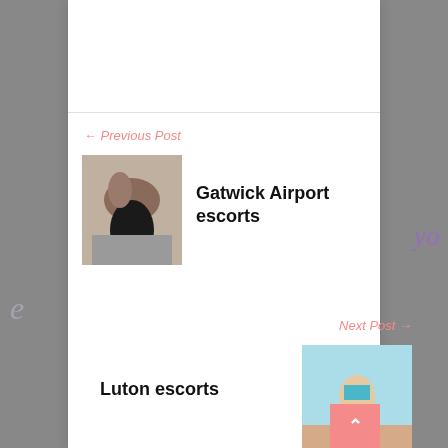← Previous Post
[Figure (photo): Photo of a woman in black swimwear posing on the ground]
Gatwick Airport escorts
Next Post →
[Figure (photo): Photo of a woman in a bikini sitting on a beach]
Luton escorts